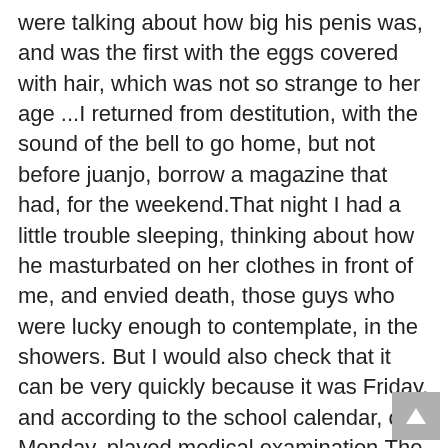were talking about how big his penis was, and was the first with the eggs covered with hair, which was not so strange to her age ...I returned from destitution, with the sound of the bell to go home, but not before juanjo, borrow a magazine that had, for the weekend.That night I had a little trouble sleeping, thinking about how he masturbated on her clothes in front of me, and envied death, those guys who were lucky enough to contemplate, in the showers. But I would also check that it can be very quickly because it was Friday, and according to the school calendar, on Monday, played medical examination.The day came, and we called everyone in the auditorium. Logically we separated by gender. When our turn came, we chose a seat each, to make clothes.My pulse quickened, as Juanjo, who was on my right, he undressed. One minute, I had undressed me, to meet with a fine lycra sleep. He had to do a little cold, and it gave hiltonbet giriş me goosebumps. He also ended, and actually looked it was the largest